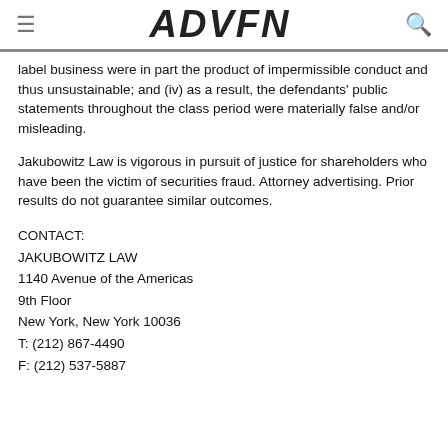ADVFN
label business were in part the product of impermissible conduct and thus unsustainable; and (iv) as a result, the defendants' public statements throughout the class period were materially false and/or misleading.
Jakubowitz Law is vigorous in pursuit of justice for shareholders who have been the victim of securities fraud. Attorney advertising. Prior results do not guarantee similar outcomes.
CONTACT:
JAKUBOWITZ LAW
1140 Avenue of the Americas
9th Floor
New York, New York 10036
T: (212) 867-4490
F: (212) 537-5887